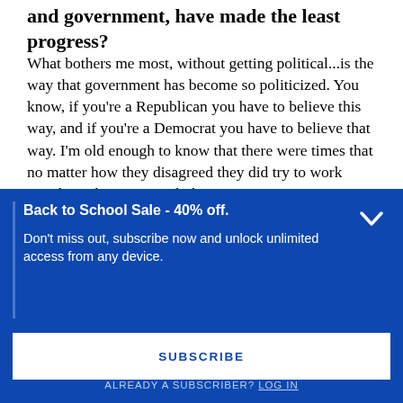and government, have made the least progress?
What bothers me most, without getting political...is the way that government has become so politicized. You know, if you're a Republican you have to believe this way, and if you're a Democrat you have to believe that way. I'm old enough to know that there were times that no matter how they disagreed they did try to work together. There's no such thing as compromise anymore. So I think that's
Back to School Sale - 40% off.
Don't miss out, subscribe now and unlock unlimited access from any device.
SUBSCRIBE
ALREADY A SUBSCRIBER? LOG IN